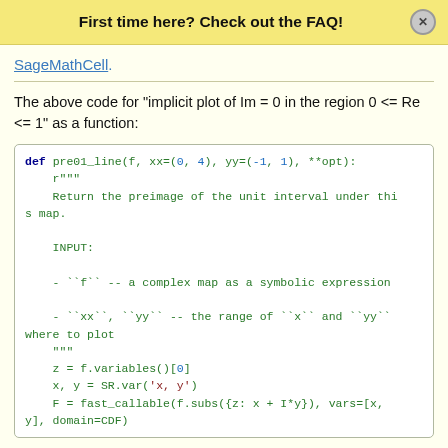First time here? Check out the FAQ!
SageMathCell.
The above code for "implicit plot of Im = 0 in the region 0 <= Re <= 1" as a function:
def pre01_line(f, xx=(0, 4), yy=(-1, 1), **opt):
    r"""
    Return the preimage of the unit interval under this map.

    INPUT:

    - ``f`` -- a complex map as a symbolic expression

    - ``xx``, ``yy`` -- the range of ``x`` and ``yy`` where to plot
    """
    z = f.variables()[0]
    x, y = SR.var('x, y')
    F = fast_callable(f.subs({z: x + I*y}), vars=[x, y], domain=CDF)